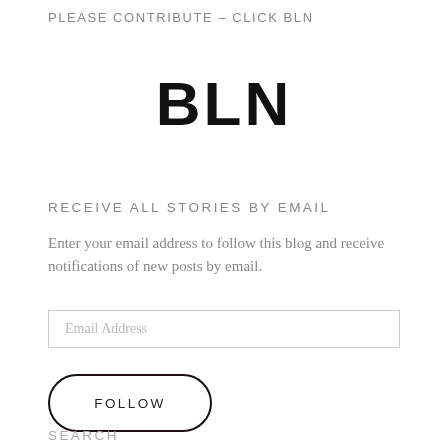PLEASE CONTRIBUTE – CLICK BLN
BLN
RECEIVE ALL STORIES BY EMAIL
Enter your email address to follow this blog and receive notifications of new posts by email.
Email Address
FOLLOW
SEARCH